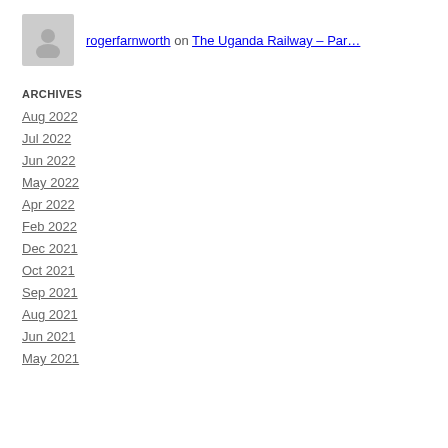rogerfarnworth on The Uganda Railway – Par…
ARCHIVES
Aug 2022
Jul 2022
Jun 2022
May 2022
Apr 2022
Feb 2022
Dec 2021
Oct 2021
Sep 2021
Aug 2021
Jun 2021
May 2021